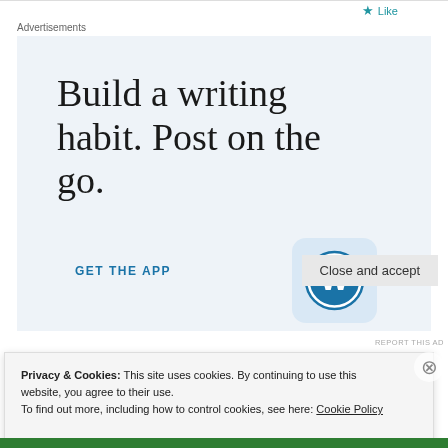Like
Advertisements
[Figure (screenshot): WordPress advertisement with light blue background showing text 'Build a writing habit. Post on the go.' with a 'GET THE APP' call-to-action link and the WordPress logo icon in the bottom right.]
REPORT THIS AD
Privacy & Cookies: This site uses cookies. By continuing to use this website, you agree to their use. To find out more, including how to control cookies, see here: Cookie Policy
Close and accept